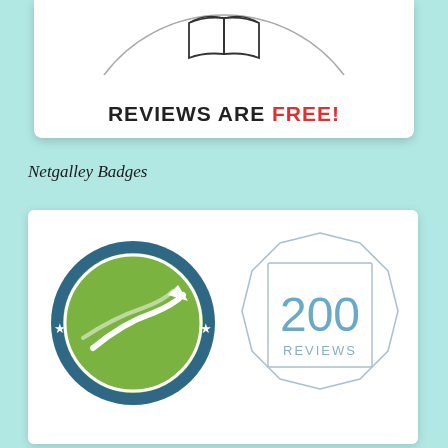[Figure (logo): Top portion of a circular badge with open book icon and text 'REVIEWS ARE FREE!' where FREE is in red, on white background]
Netgalley Badges
[Figure (illustration): Two Netgalley badges side by side: left is a circular green badge reading 'NETGALLEY MEMBER PROFESSIONAL READER' with arrow/road graphic; right is a geometric diamond/polygon outline badge with '200 REVIEWS' in blue text]